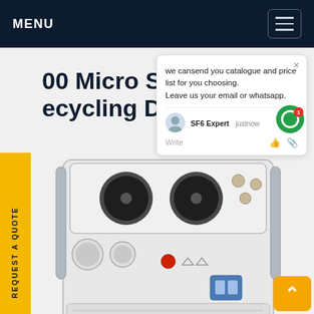MENU
00 Micro Series SF6 Recycling Device
[Figure (photo): SF6 gas recycling device - white industrial unit with dual fans on top, gauge panel, handles, vented sides, mounted on wheels]
REQUEST A QUOTE
we cansend you catalogue and price list for you choosing.
Leave us your email or whatsapp.
SF6 Expert  justnow
Write